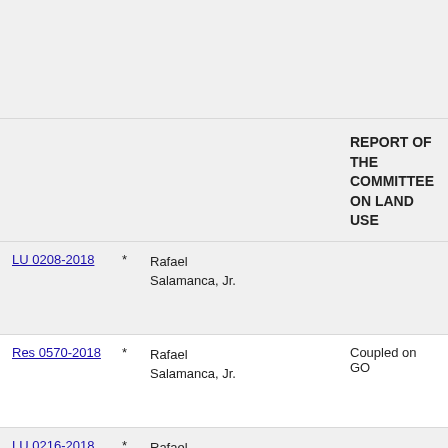REPORT OF THE COMMITTEE ON LAND USE
| ID |  | Name | Note |
| --- | --- | --- | --- |
| LU 0208-2018 | * | Rafael Salamanca, Jr. |  |
| Res 0570-2018 | * | Rafael Salamanca, Jr. | Coupled on GO |
| LU 0216-2018 | * | Rafael Salamanca, Jr. |  |
| Res 0571-2018 | * | Rafael Salamanca, Jr. | Coupled on GO |